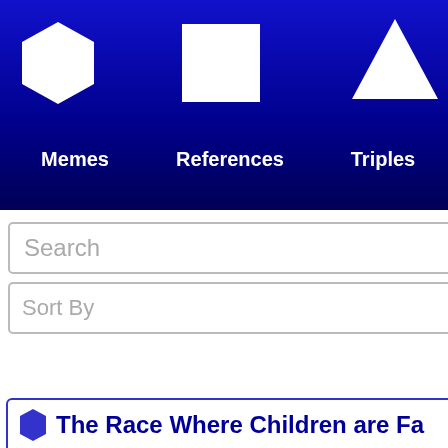Memes | References | Triples | Sch...
Search
Filter B...
Sort By
1 2 3 4 5 6 7
The Race Where Children are Fa...
The key to the understanding of this race is, I b... reproduction, which was essentially communal. of budding a new individual; but only at certain stimulation by a kind of pollen emanating from t the air. The grains of this ultra-microscopically germ cells but "genes," the elementary factors o of the tribe were at all times faintly ...
Folksonomies: otherness alien other